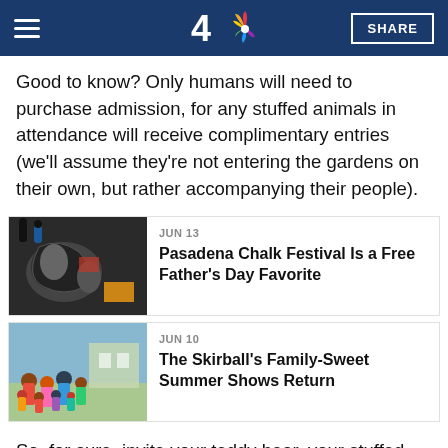NBC 4 — SHARE
Good to know? Only humans will need to purchase admission, for any stuffed animals in attendance will receive complimentary entries (we'll assume they're not entering the gardens on their own, but rather accompanying their people).
[Figure (photo): People looking at chalk art on the ground at the Pasadena Chalk Festival]
JUN 13
Pasadena Chalk Festival Is a Free Father's Day Favorite
[Figure (photo): Crowd of families with children gathered outdoors at a summer event]
JUN 10
The Skirball's Family-Sweet Summer Shows Return
So, for sure, invite your teddy bear, your stuffed lobster, your cuddliest dinosaur, or your favorite doll along for the sunset-sweet event.